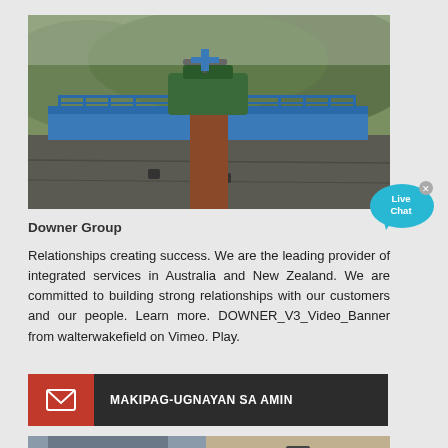[Figure (photo): Industrial water treatment facility with blue elevated structure, machinery on top, and concrete walls below with pipe outlets]
[Figure (illustration): Live Chat speech bubble icon in cyan/blue with 'Live Chat' text and an X close button]
Downer Group
Relationships creating success. We are the leading provider of integrated services in Australia and New Zealand. We are committed to building strong relationships with our customers and our people. Learn more. DOWNER_V3_Video_Banner from walterwakefield on Vimeo. Play.
[Figure (infographic): Contact bar with red envelope icon section on left and dark background with white text MAKIPAG-UGNAYAN SA AMIN on right]
[Figure (photo): Bottom partial photo showing two sections: left with building facade, right with wall and camera]